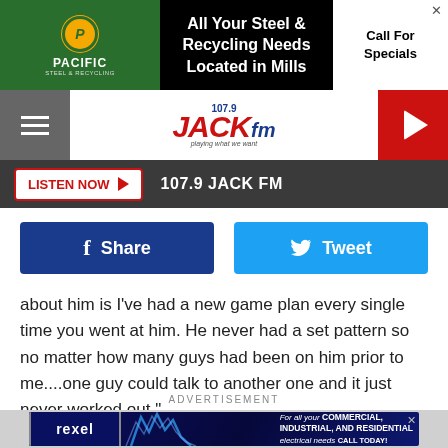[Figure (screenshot): Pacific Steel & Recycling advertisement banner: logo on green background, text 'All Your Steel & Recycling Needs Located in Mills', 'Call For Specials']
[Figure (logo): 107.9 JACK fm radio station logo with red and blue text, tagline 'playing what we want']
[Figure (screenshot): Navigation bar with hamburger menu icon on gray left, 107.9 JACK FM logo in center, red play button on right]
LISTEN NOW ▶  107.9 JACK FM
[Figure (screenshot): Facebook Share button (dark blue) and Tweet button (light blue) side by side]
about him is I've had a new game plan every single time you went at him. He never had a set pattern so no matter how many guys had been on him prior to me....one guy could talk to another one and it just never worked out."
ADVERTISEMENT
[Figure (screenshot): Rexel advertisement: dark blue background with lightning bolt graphic, text 'For all your COMMERCIAL, INDUSTRIAL, AND RESIDENTIAL electrical needs CALL TODAY!']